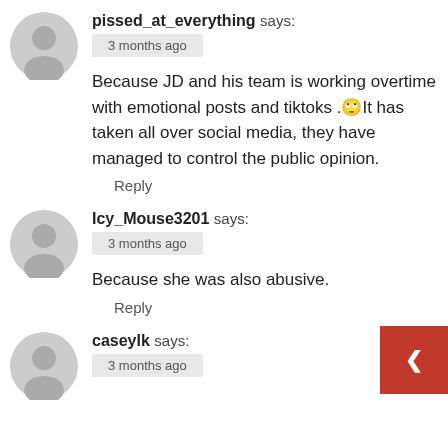pissed_at_everything says:
3 months ago
Because JD and his team is working overtime with emotional posts and tiktoks .🙄It has taken all over social media, they have managed to control the public opinion.
Reply
Icy_Mouse3201 says:
3 months ago
Because she was also abusive.
Reply
caseylk says:
3 months ago